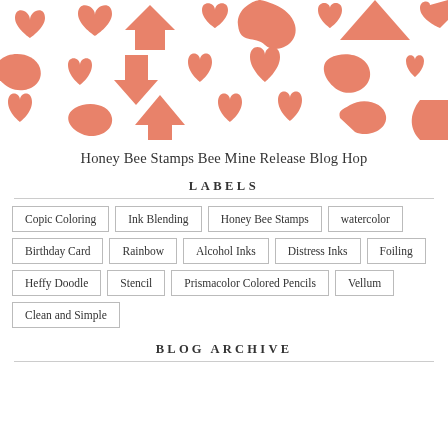[Figure (illustration): Decorative header banner with coral/salmon colored hearts and abstract shapes on a white background]
Honey Bee Stamps Bee Mine Release Blog Hop
LABELS
Copic Coloring
Ink Blending
Honey Bee Stamps
watercolor
Birthday Card
Rainbow
Alcohol Inks
Distress Inks
Foiling
Heffy Doodle
Stencil
Prismacolor Colored Pencils
Vellum
Clean and Simple
BLOG ARCHIVE